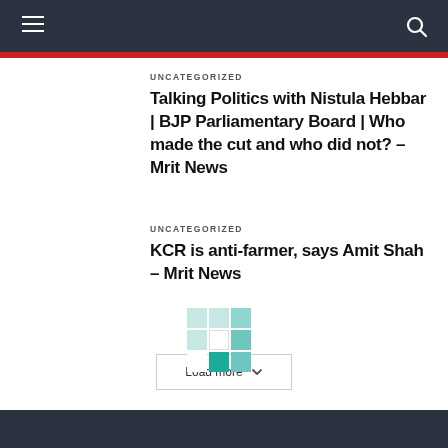Navigation header with hamburger menu and search icon
UNCATEGORIZED
Talking Politics with Nistula Hebbar | BJP Parliamentary Board | Who made the cut and who did not? – Mrit News
UNCATEGORIZED
KCR is anti-farmer, says Amit Shah – Mrit News
[Figure (other): Load more button with teal spinner/loading grid animation]
Footer bar